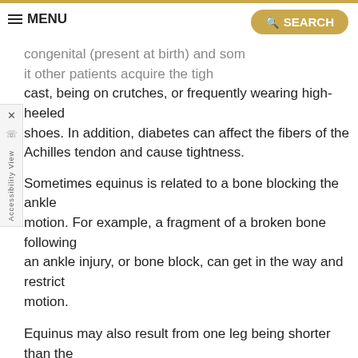MENU | SEARCH
congenital (present at birth) and some other patients acquire the tightness from wearing a cast, being on crutches, or frequently wearing high-heeled shoes. In addition, diabetes can affect the fibers of the Achilles tendon and cause tightness.
Sometimes equinus is related to a bone blocking the ankle motion. For example, a fragment of a broken bone following an ankle injury, or bone block, can get in the way and restrict motion.
Equinus may also result from one leg being shorter than the other.
Less often, equinus is caused by spasms in the calf muscle. These spasms may be signs of an underlying neurologic disorder.
Foot Problems Related to Equinus